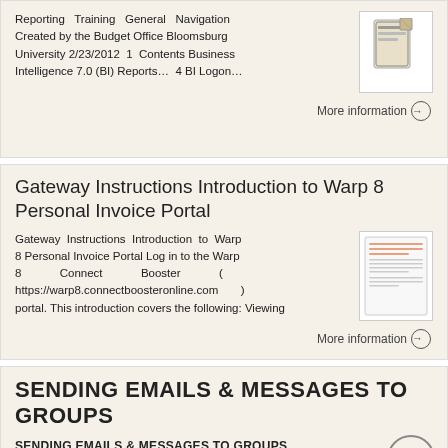Reporting Training General Navigation Created by the Budget Office Bloomsburg University 2/23/2012 1 Contents Business Intelligence 7.0 (BI) Reports... 4 BI Logon...
More information →
Gateway Instructions Introduction to Warp 8 Personal Invoice Portal
Gateway Instructions Introduction to Warp 8 Personal Invoice Portal Log in to the Warp 8 Connect Booster ( https://warp8.connectboosteronline.com ) portal. This introduction covers the following: Viewing
More information →
SENDING EMAILS & MESSAGES TO GROUPS
SENDING EMAILS & MESSAGES TO GROUPS